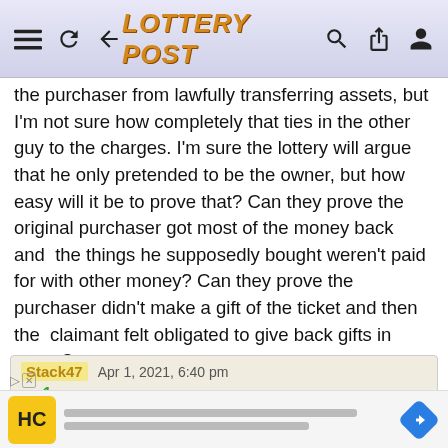LOTTERY POST
the purchaser from lawfully transferring assets, but I'm not sure how completely that ties in the other guy to the charges. I'm sure the lottery will argue that he only pretended to be the owner, but how easy will it be to prove that? Can they prove the original purchaser got most of the money back and the things he supposedly bought weren't paid for with other money? Can they prove the purchaser didn't make a gift of the ticket and then the claimant felt obligated to give back gifts in return?
Stack47   Apr 1, 2021, 6:40 pm
+ In response to KY Floyd
Another problem is the Iowa Lottery already gave the